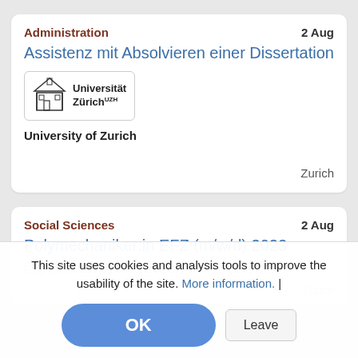Administration
2 Aug
Assistenz mit Absolvieren einer Dissertation
[Figure (logo): Universität Zürich logo with building icon and text]
University of Zurich
Zurich
Social Sciences
2 Aug
Polymechaniker:in EFZ (m/w/d) 2023
Eidgenössische Technische Hochschule Zürich, ETHZ
Zürich
This site uses cookies and analysis tools to improve the usability of the site. More information. |